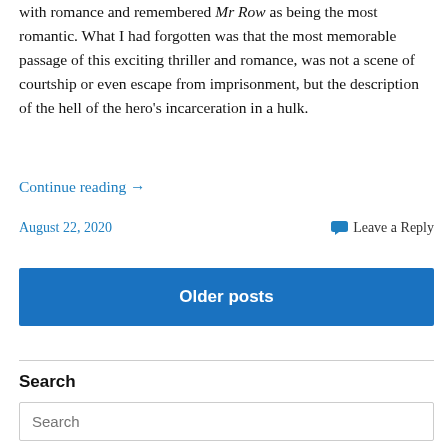with romance and remembered Mr Row as being the most romantic. What I had forgotten was that the most memorable passage of this exciting thriller and romance, was not a scene of courtship or even escape from imprisonment, but the description of the hell of the hero's incarceration in a hulk.
Continue reading →
August 22, 2020
Leave a Reply
Older posts
Search
Search